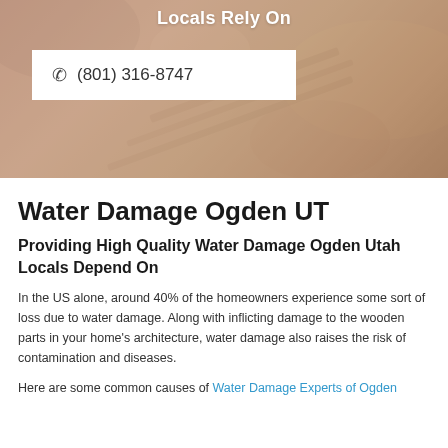Locals Rely On
(801) 316-8747
Water Damage Ogden UT
Providing High Quality Water Damage Ogden Utah Locals Depend On
In the US alone, around 40% of the homeowners experience some sort of loss due to water damage. Along with inflicting damage to the wooden parts in your home's architecture, water damage also raises the risk of contamination and diseases.
Here are some common causes of Water Damage Experts of Ogden